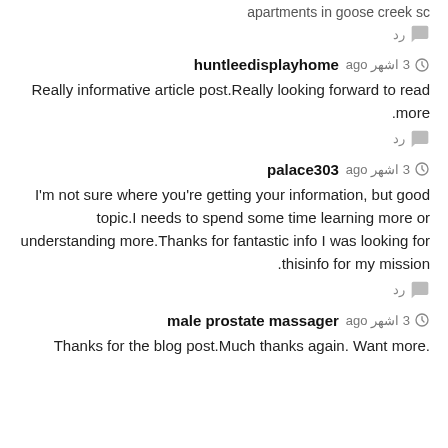apartments in goose creek sc
رد
huntleedisplayhome  3 اشهر ago
Really informative article post.Really looking forward to read more.
رد
palace303  3 اشهر ago
I'm not sure where you're getting your information, but good topic.I needs to spend some time learning more or understanding more.Thanks for fantastic info I was looking for thisinfo for my mission.
رد
male prostate massager  3 اشهر ago
.Thanks for the blog post.Much thanks again. Want more